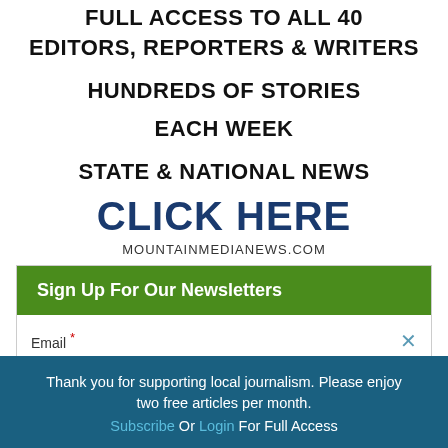FULL ACCESS TO ALL 40 EDITORS, REPORTERS & WRITERS
HUNDREDS OF STORIES EACH WEEK
STATE & NATIONAL NEWS
CLICK HERE
MOUNTAINMEDIANEWS.COM
Sign Up For Our Newsletters
Email *
Thank you for supporting local journalism. Please enjoy two free articles per month. Subscribe Or Login For Full Access